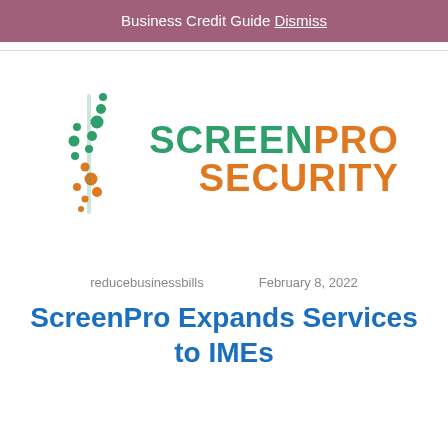Business Credit Guide Dismiss
[Figure (logo): ScreenPro Security logo with stylized DNA-like dot helix on the left and bold text SCREENPRO SECURITY on the right, green and orange colors]
reducebusinessbills   February 8, 2022
ScreenPro Expands Services to IMEs